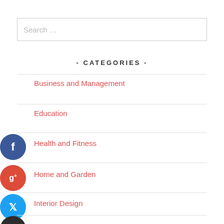Search …
- CATEGORIES -
Business and Management
Education
Health and Fitness
Home and Garden
Interior Design
Legal